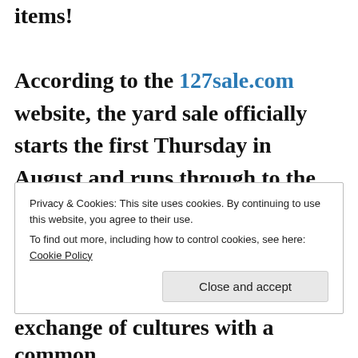items! According to the 127sale.com website, the yard sale officially starts the first Thursday in August and runs through to the following Sunday but this year it started on the 1st.  People travel from the
Privacy & Cookies: This site uses cookies. By continuing to use this website, you agree to their use.
To find out more, including how to control cookies, see here: Cookie Policy
exchange of cultures with a common